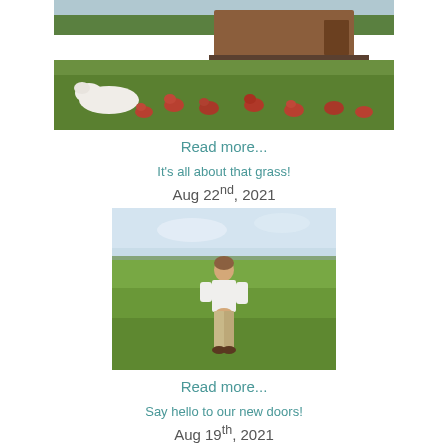[Figure (photo): Farm scene with a white dog lying on grass surrounded by red/brown chickens, with a mobile chicken coop on a trailer in the background and trees]
Read more...
It's all about that grass!
Aug 22nd, 2021
[Figure (photo): A man in a white t-shirt and khaki pants standing in a green open field under a cloudy sky]
Read more...
Say hello to our new doors!
Aug 19th, 2021
[Figure (photo): Partially visible photo at bottom of page, appears to show some structure or doors]